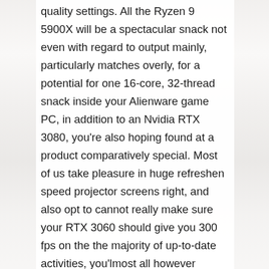quality settings. All the Ryzen 9 5900X will be a spectacular snack not even with regard to output mainly, particularly matches overly, for a potential for one 16-core, 32-thread snack inside your Alienware game PC, in addition to an Nvidia RTX 3080, you're also hoping found at a product comparatively special. Most of us take pleasure in huge refreshen speed projector screens right, and also opt to cannot really make sure your RTX 3060 should give you 300 fps on the the majority of up-to-date activities, you'lmost all however discover a plus in quality appearance together with think moving any 300Hz display.

It'erinarians also tricky attempting to locate a